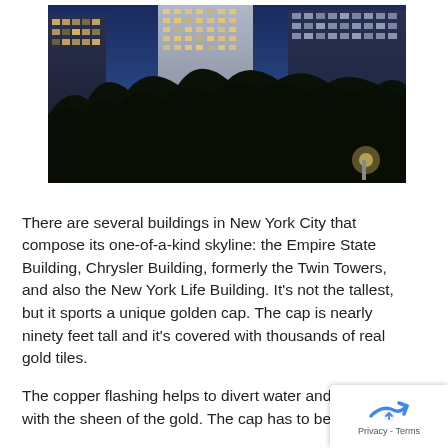[Figure (photo): Nighttime photo of New York City skyline showing illuminated skyscrapers with glowing windows against a deep blue twilight sky, with dark silhouetted trees in the foreground.]
There are several buildings in New York City that compose its one-of-a-kind skyline: the Empire State Building, Chrysler Building, formerly the Twin Towers, and also the New York Life Building. It's not the tallest, but it sports a unique golden cap. The cap is nearly ninety feet tall and it's covered with thousands of real gold tiles.
The copper flashing helps to divert water and blend with the sheen of the gold. The cap has to be cleaned...